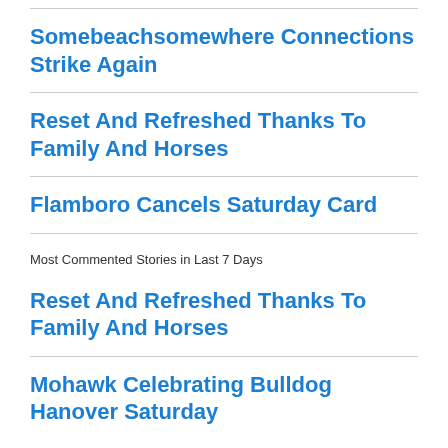Somebeachsomewhere Connections Strike Again
Reset And Refreshed Thanks To Family And Horses
Flamboro Cancels Saturday Card
Most Commented Stories in Last 7 Days
Reset And Refreshed Thanks To Family And Horses
Mohawk Celebrating Bulldog Hanover Saturday